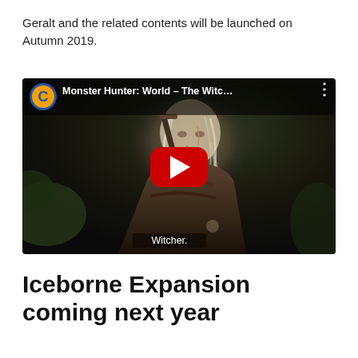Geralt and the related contents will be launched on Autumn 2019.
[Figure (screenshot): YouTube-style embedded video thumbnail showing Geralt from The Witcher in Monster Hunter: World. The video title reads 'Monster Hunter: World – The Witc…' with a Crunchyroll-style logo. A red YouTube play button is centered on the dark video frame. Subtitle text 'Witcher.' appears at the bottom of the video.]
Iceborne Expansion coming next year